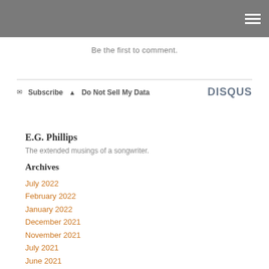Be the first to comment.
✉ Subscribe  ▲ Do Not Sell My Data   DISQUS
E.G. Phillips
The extended musings of a songwriter.
Archives
July 2022
February 2022
January 2022
December 2021
November 2021
July 2021
June 2021
May 2021
November 2020
August 2019
July 2019
June 2019
May 2019